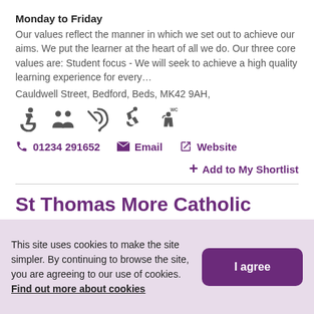Monday to Friday
Our values reflect the manner in which we set out to achieve our aims. We put the learner at the heart of all we do. Our three core values are: Student focus - We will seek to achieve a high quality learning experience for every…
Cauldwell Street, Bedford, Beds, MK42 9AH,
[Figure (infographic): Row of accessibility icons: wheelchair accessible, group/people, hearing loop, mobility impaired, accessible WC]
01234 291652   Email   Website
+ Add to My Shortlist
St Thomas More Catholic Secondary School (STM)
This site uses cookies to make the site simpler. By continuing to browse the site, you are agreeing to our use of cookies. Find out more about cookies